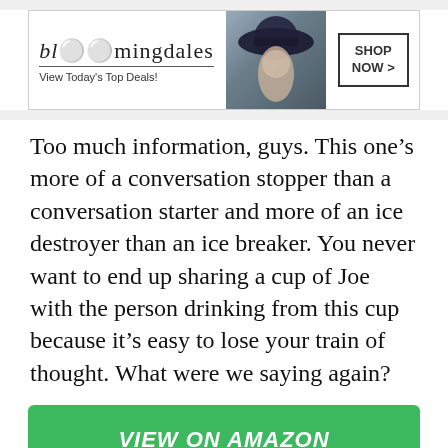[Figure (other): Bloomingdale's advertisement banner showing logo, 'View Today's Top Deals!' tagline, woman with hat, and 'SHOP NOW >' call-to-action button]
Too much information, guys. This one’s more of a conversation stopper than a conversation starter and more of an ice destroyer than an ice breaker. You never want to end up sharing a cup of Joe with the person drinking from this cup because it’s easy to lose your train of thought. What were we saying again?
VIEW ON AMAZON
ADVERTISEMENT